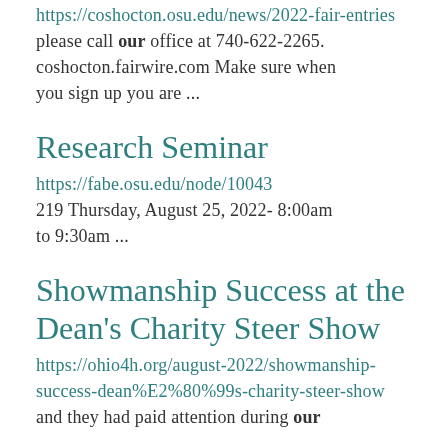https://coshocton.osu.edu/news/2022-fair-entries please call our office at 740-622-2265. coshocton.fairwire.com Make sure when you sign up you are ...
Research Seminar
https://fabe.osu.edu/node/10043 219 Thursday, August 25, 2022- 8:00am to 9:30am ...
Showmanship Success at the Dean's Charity Steer Show
https://ohio4h.org/august-2022/showmanship-success-dean%E2%80%99s-charity-steer-show and they had paid attention during our